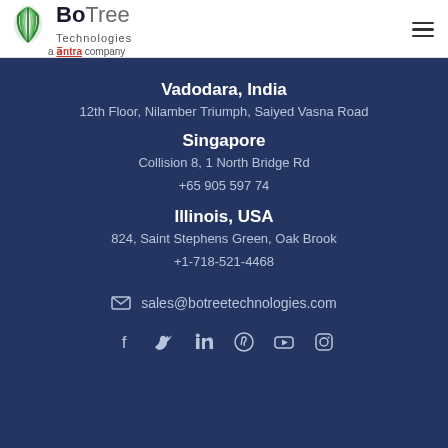[Figure (logo): BoTree Technologies logo with tree icon on left, company name 'BoTree Technologies' and subtitle 'a antra company' below]
Vadodara, India
12th Floor, Nilamber Triumph, Saiyed Vasna Road
Singapore
Collision 8, 1 North Bridge Rd
+65 905 597 74
Illinois, USA
824, Saint Stephens Green, Oak Brook
+1-718-521-4468
sales@botreetechnologies.com
[Figure (infographic): Social media icons: Facebook, Twitter, LinkedIn, Pinterest, YouTube, Instagram]